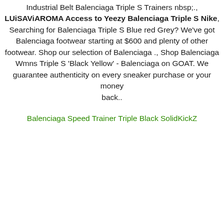Industrial Belt Balenciaga Triple S Trainers nbsp;., LUiSAViAROMA Access to Yeezy Balenciaga Triple S Nike, Searching for Balenciaga Triple S Blue red Grey? We've got Balenciaga footwear starting at $600 and plenty of other footwear. Shop our selection of Balenciaga ., Shop Balenciaga Wmns Triple S 'Black Yellow' - Balenciaga on GOAT. We guarantee authenticity on every sneaker purchase or your money back..
Balenciaga Speed Trainer Triple Black SolidKickZ